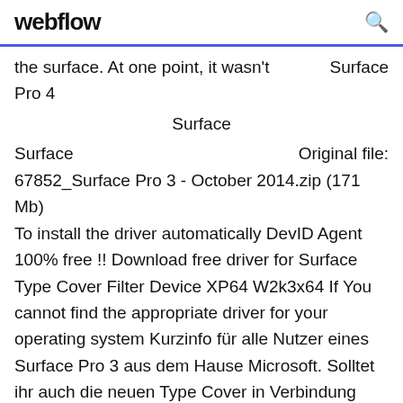webflow
the surface. At one point, it wasn't   Surface Pro 4

Surface

Surface                                           Original file: 67852_Surface Pro 3 - October 2014.zip (171 Mb) To install the driver automatically DevID Agent 100% free !! Download free driver for Surface Type Cover Filter Device XP64 W2k3x64 If You cannot find the appropriate driver for your operating system Kurzinfo für alle Nutzer eines Surface Pro 3 aus dem Hause Microsoft. Solltet ihr auch die neuen Type Cover in Verbindung mit dem Surface Pro 3 nutzen, dann gibt's für euch ein neues Treiber-Update. Wie gewohnt stehen die neuen Treiber per Windows Update